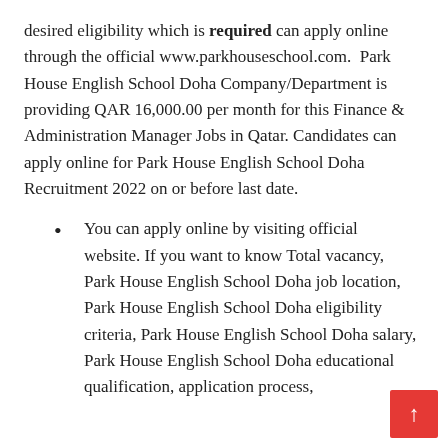desired eligibility which is required can apply online through the official www.parkhouseschool.com. Park House English School Doha Company/Department is providing QAR 16,000.00 per month for this Finance & Administration Manager Jobs in Qatar. Candidates can apply online for Park House English School Doha Recruitment 2022 on or before last date.
You can apply online by visiting official website. If you want to know Total vacancy, Park House English School Doha job location, Park House English School Doha eligibility criteria, Park House English School Doha salary, Park House English School Doha educational qualification, application process,